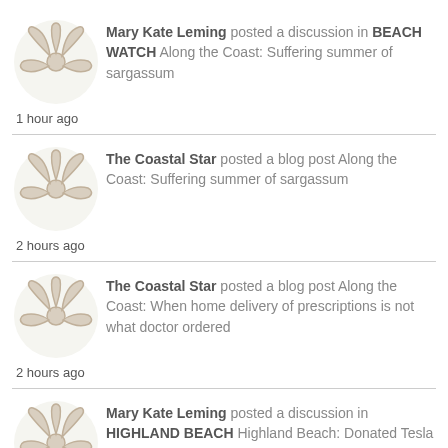Mary Kate Leming posted a discussion in BEACH WATCH Along the Coast: Suffering summer of sargassum
1 hour ago
The Coastal Star posted a blog post Along the Coast: Suffering summer of sargassum
2 hours ago
The Coastal Star posted a blog post Along the Coast: When home delivery of prescriptions is not what doctor ordered
2 hours ago
Mary Kate Leming posted a discussion in HIGHLAND BEACH Highland Beach: Donated Tesla ready to patrol A1A
2 hours ago